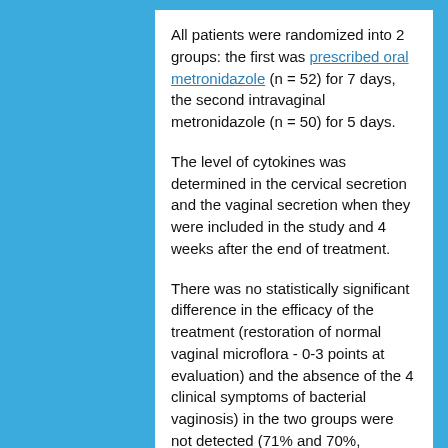All patients were randomized into 2 groups: the first was prescribed oral metronidazole (n = 52) for 7 days, the second intravaginal metronidazole (n = 50) for 5 days.
The level of cytokines was determined in the cervical secretion and the vaginal secretion when they were included in the study and 4 weeks after the end of treatment.
There was no statistically significant difference in the efficacy of the treatment (restoration of normal vaginal microflora - 0-3 points at evaluation) and the absence of the 4 clinical symptoms of bacterial vaginosis) in the two groups were not detected (71% and 70%, respectively, p = 1, p = 1.0, respectively).
The level of cytokines, namely the interleukins (IL-1β, IL-6 and IL-8), was significantly lower at the end of treatment in women for whom the prescribed treatment was effective compared to those who had not no observed response to treatment (n is less than 0.001, n = 0.001 and n